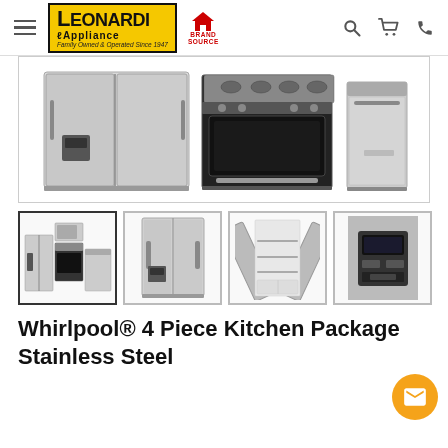Leonardi Appliance — Brand Source — Family Owned & Operated Since 1947
[Figure (photo): Main product image showing a Whirlpool stainless steel side-by-side refrigerator, a gas range/oven, and a dishwasher arranged together against a white background.]
[Figure (photo): Thumbnail 1: All four appliances together — refrigerator, microwave, range, dishwasher in stainless steel.]
[Figure (photo): Thumbnail 2: Whirlpool stainless steel side-by-side refrigerator with water/ice dispenser, front view.]
[Figure (photo): Thumbnail 3: Whirlpool side-by-side refrigerator open, showing interior shelves and drawers.]
[Figure (photo): Thumbnail 4: Close-up of Whirlpool refrigerator dispenser panel on the left door.]
Whirlpool® 4 Piece Kitchen Package Stainless Steel